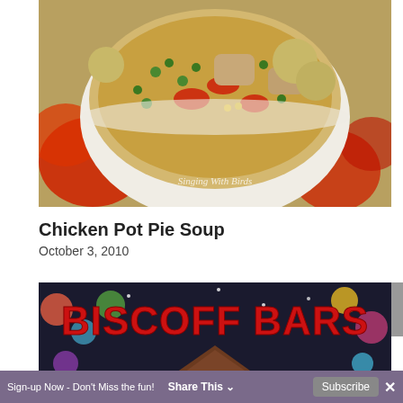[Figure (photo): A bowl of chicken pot pie soup with peas, carrots, chicken chunks, and potatoes in a golden broth, sitting on a floral tablecloth. Watermark reads 'Singing With Birds'.]
Chicken Pot Pie Soup
October 3, 2010
[Figure (photo): A dark floral background with bold red text reading 'Biscoff Bars', and a triangular chocolate bar piece in the foreground.]
Sign-up Now - Don't Miss the fun!   Share This   Subscribe   ×